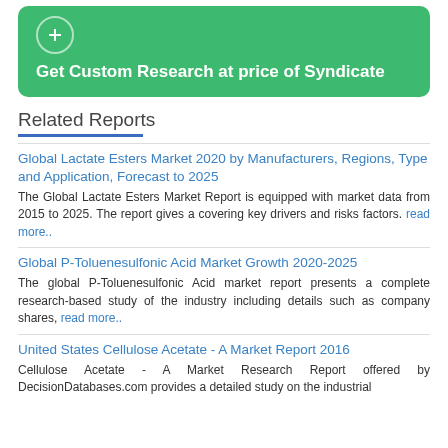[Figure (other): Green banner with circle icon and text: Get Custom Research at price of Syndicate]
Related Reports
Global Lactate Esters Market 2020 by Manufacturers, Regions, Type and Application, Forecast to 2025
The Global Lactate Esters Market Report is equipped with market data from 2015 to 2025. The report gives a covering key drivers and risks factors. read more..
Global P-Toluenesulfonic Acid Market Growth 2020-2025
The global P-Toluenesulfonic Acid market report presents a complete research-based study of the industry including details such as company shares, read more..
United States Cellulose Acetate - A Market Report 2016
Cellulose Acetate - A Market Research Report offered by DecisionDatabases.com provides a detailed study on the industrial